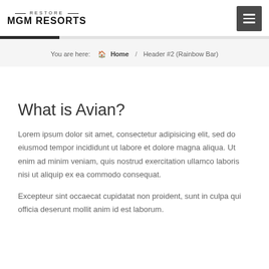RESTORE MGM RESORTS
You are here: Home / Header #2 (Rainbow Bar)
What is Avian?
Lorem ipsum dolor sit amet, consectetur adipisicing elit, sed do eiusmod tempor incididunt ut labore et dolore magna aliqua. Ut enim ad minim veniam, quis nostrud exercitation ullamco laboris nisi ut aliquip ex ea commodo consequat.
Excepteur sint occaecat cupidatat non proident, sunt in culpa qui officia deserunt mollit anim id est laborum.